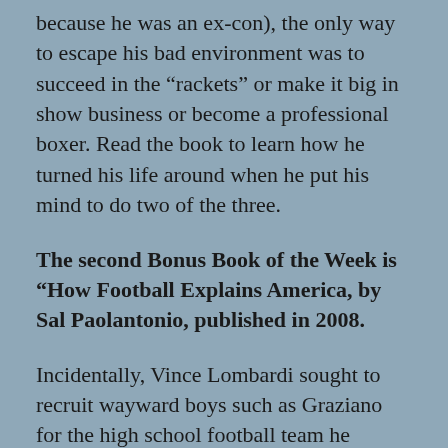because he was an ex-con), the only way to escape his bad environment was to succeed in the “rackets” or make it big in show business or become a professional boxer. Read the book to learn how he turned his life around when he put his mind to do two of the three.
The second Bonus Book of the Week is “How Football Explains America, by Sal Paolantonio, published in 2008.
Incidentally, Vince Lombardi sought to recruit wayward boys such as Graziano for the high school football team he coached in New Jersey in the late 1930’s. He used the Englewood police department as his talent source.